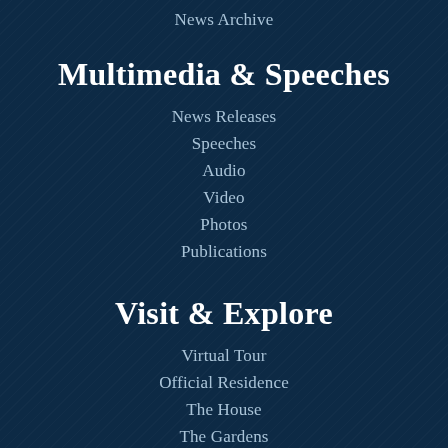News Archive
Multimedia & Speeches
News Releases
Speeches
Audio
Video
Photos
Publications
Visit & Explore
Virtual Tour
Official Residence
The House
The Gardens
Tours & Visits
About